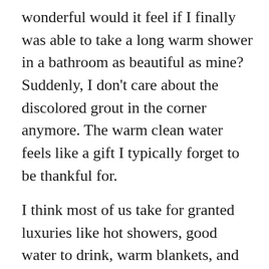wonderful would it feel if I finally was able to take a long warm shower in a bathroom as beautiful as mine? Suddenly, I don't care about the discolored grout in the corner anymore. The warm clean water feels like a gift I typically forget to be thankful for.

I think most of us take for granted luxuries like hot showers, good water to drink, warm blankets, and safe beds to sleep in. Maybe we need to paint a room that looks shabby to us, or maybe we want to redecorate, or maybe we can no longer afford the big house or nice condo we have and need to downsize. But, the reality is in our country most of us are truly